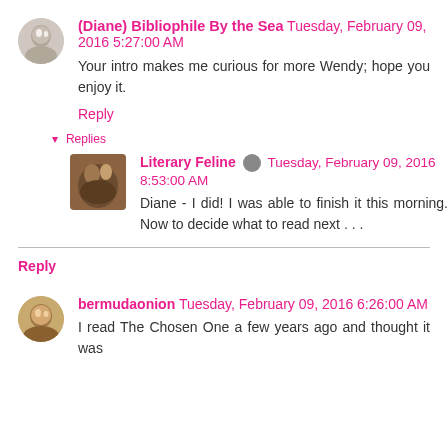(Diane) Bibliophile By the Sea  Tuesday, February 09, 2016 5:27:00 AM
Your intro makes me curious for more Wendy; hope you enjoy it.
Reply
▾ Replies
Literary Feline  Tuesday, February 09, 2016 8:53:00 AM
Diane - I did! I was able to finish it this morning. Now to decide what to read next . . .
Reply
bermudaonion  Tuesday, February 09, 2016 6:26:00 AM
I read The Chosen One a few years ago and thought it was